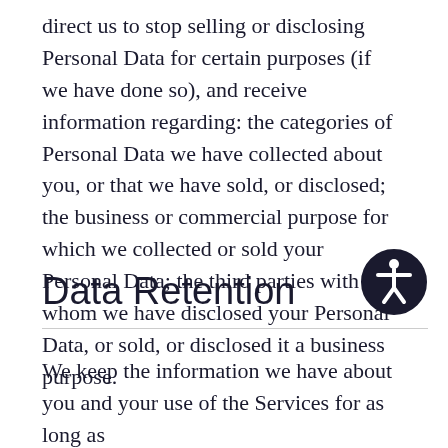direct us to stop selling or disclosing Personal Data for certain purposes (if we have done so), and receive information regarding: the categories of Personal Data we have collected about you, or that we have sold, or disclosed; the business or commercial purpose for which we collected or sold your Personal Data; the third parties with whom we have disclosed your Personal Data, or sold, or disclosed it a business purpose.
Data Retention
We keep the information we have about you and your use of the Services for as long as